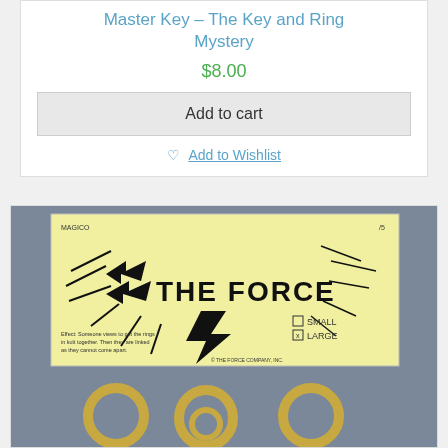Master Key – The Key and Ring Mystery
$8.00
Add to cart
Add to Wishlist
[Figure (photo): Product photo showing 'The Force' magic trick card (yellow card with bold 'THE FORCE' text and lightning bolt design, showing size checkboxes for SMALL and LARGE with LARGE checked) above three gold-colored metal rings on a blue-grey fabric background.]